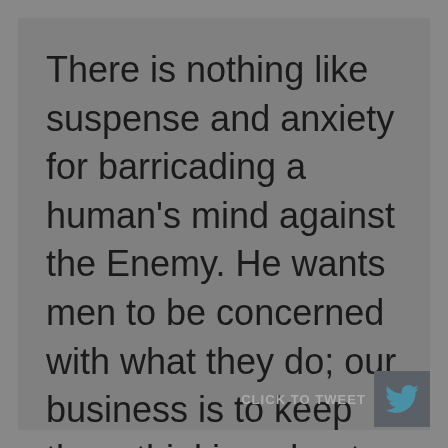There is nothing like suspense and anxiety for barricading a human's mind against the Enemy. He wants men to be concerned with what they do; our business is to keep them thinking about what will happen to them.
[Figure (other): Click to Tweet button with Twitter bird icon on a dark grey background]